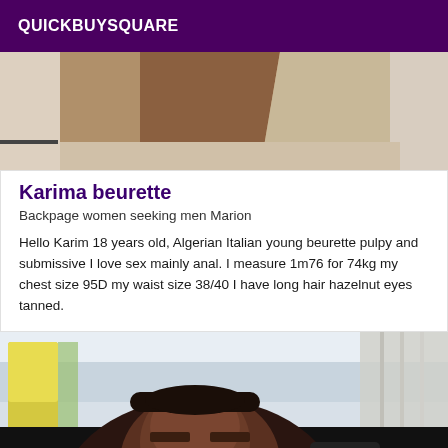QUICKBUYSQUARE
[Figure (photo): Partial photo showing legs/lower body of a person]
Karima beurette
Backpage women seeking men Marion
Hello Karim 18 years old, Algerian Italian young beurette pulpy and submissive I love sex mainly anal. I measure 1m76 for 74kg my chest size 95D my waist size 38/40 I have long hair hazelnut eyes tanned.
[Figure (photo): Selfie photo of a young Black woman with hair up, taking mirror selfie with phone]